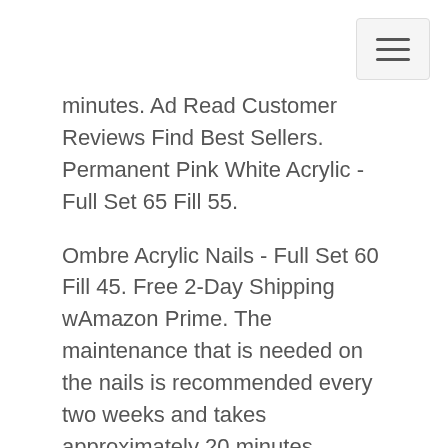minutes. Ad Read Customer Reviews Find Best Sellers. Permanent Pink White Acrylic - Full Set 65 Fill 55.
Ombre Acrylic Nails - Full Set 60 Fill 45. Free 2-Day Shipping wAmazon Prime. The maintenance that is needed on the nails is recommended every two weeks and takes approximately 20 minutes.
It seems very complicated at the first glance but actually they are very easy to polish. Ad Read Customer Reviews Find Best Sellers. Geometric Nail Art Patterns.
Tumblr and round shaped nails were mostly used by the people in the silver acrylic nails. Nails nail art manicure tie dye short nails dry marble drag marble